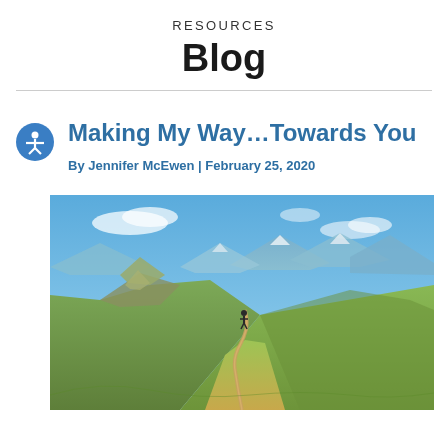RESOURCES
Blog
Making My Way…Towards You
By Jennifer McEwen | February 25, 2020
[Figure (photo): A mountain trail winding along a ridge with green slopes, a hiker in the distance, and blue sky with mountains in the background.]